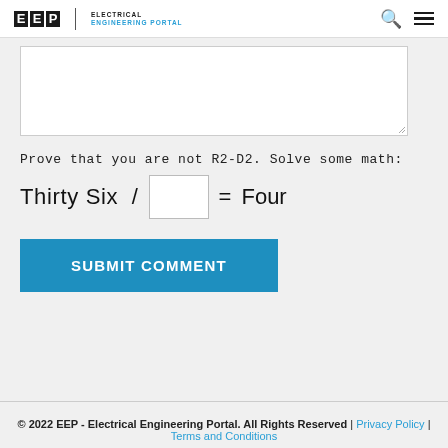EEP | ELECTRICAL ENGINEERING PORTAL
Prove that you are not R2-D2. Solve some math:
Thirty Six / [input] = Four
SUBMIT COMMENT
© 2022 EEP - Electrical Engineering Portal. All Rights Reserved | Privacy Policy | Terms and Conditions